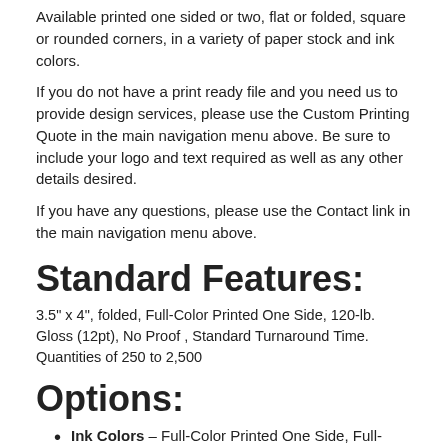Available printed one sided or two, flat or folded, square or rounded corners, in a variety of paper stock and ink colors.
If you do not have a print ready file and you need us to provide design services, please use the Custom Printing Quote in the main navigation menu above. Be sure to include your logo and text required as well as any other details desired.
If you have any questions, please use the Contact link in the main navigation menu above.
Standard Features:
3.5" x 4", folded, Full-Color Printed One Side, 120-lb. Gloss (12pt), No Proof , Standard Turnaround Time.
Quantities of 250 to 2,500
Options:
Ink Colors – Full-Color Printed One Side, Full-Color Printed Both Sides